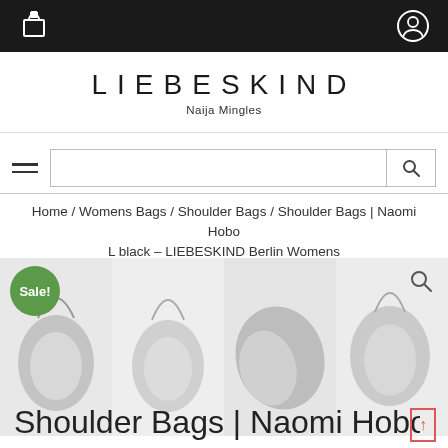LIEBESKIND - Naija Mingles
LIEBESKIND
Naija Mingles
Home / Womens Bags / Shoulder Bags / Shoulder Bags | Naomi Hobo L black – LIEBESKIND Berlin Womens
[Figure (photo): Four product images of Liebeskind Naomi Hobo L shoulder bag in grey/black, shown from different angles. A green 'Sale!' badge is in the top left corner. A search/zoom icon is in the top right.]
Shoulder Bags | Naomi Hobo L